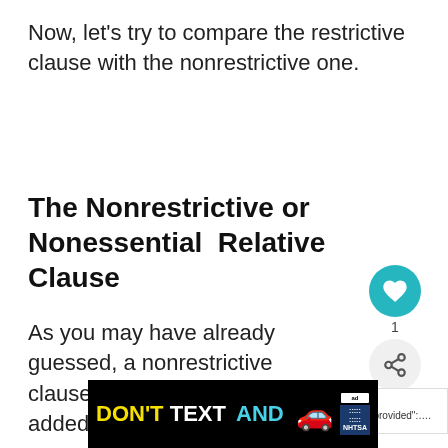Now, let's try to compare the restrictive clause with the nonrestrictive one.
The Nonrestrictive or Nonessential  Relative Clause
As you may have already guessed, a nonrestrictive clause is simply information added to amplify or clarify the m… a noun.
[Figure (screenshot): Social interaction widget showing a teal heart/like button and a share button with count of 1]
[Figure (infographic): What's Next promo box: 'Comma before provided:...']
[Figure (infographic): Ad banner: DON'T TEXT AND [car image] NHTSA advertisement]